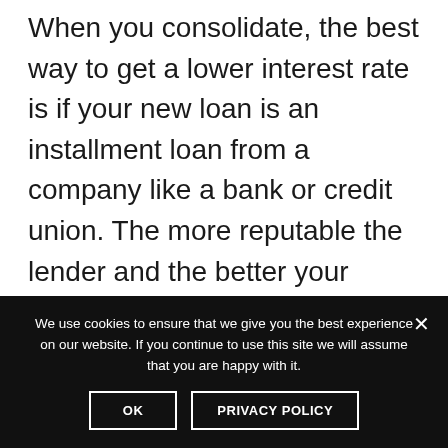When you consolidate, the best way to get a lower interest rate is if your new loan is an installment loan from a company like a bank or credit union. The more reputable the lender and the better your credit score, the better chance you have of getting a low interest rate on your
We use cookies to ensure that we give you the best experience on our website. If you continue to use this site we will assume that you are happy with it.